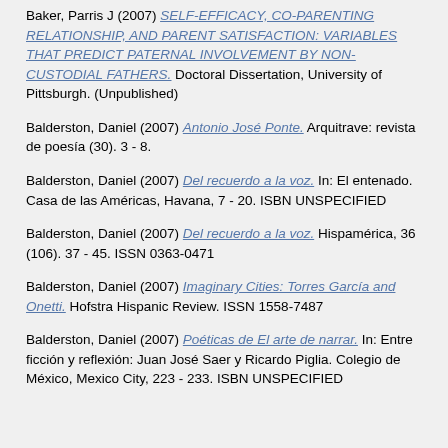Baker, Parris J (2007) SELF-EFFICACY, CO-PARENTING RELATIONSHIP, AND PARENT SATISFACTION: VARIABLES THAT PREDICT PATERNAL INVOLVEMENT BY NON-CUSTODIAL FATHERS. Doctoral Dissertation, University of Pittsburgh. (Unpublished)
Balderston, Daniel (2007) Antonio José Ponte. Arquitrave: revista de poesía (30). 3 - 8.
Balderston, Daniel (2007) Del recuerdo a la voz. In: El entenado. Casa de las Américas, Havana, 7 - 20. ISBN UNSPECIFIED
Balderston, Daniel (2007) Del recuerdo a la voz. Hispamérica, 36 (106). 37 - 45. ISSN 0363-0471
Balderston, Daniel (2007) Imaginary Cities: Torres García and Onetti. Hofstra Hispanic Review. ISSN 1558-7487
Balderston, Daniel (2007) Poéticas de El arte de narrar. In: Entre ficción y reflexión: Juan José Saer y Ricardo Piglia. Colegio de México, Mexico City, 223 - 233. ISBN UNSPECIFIED